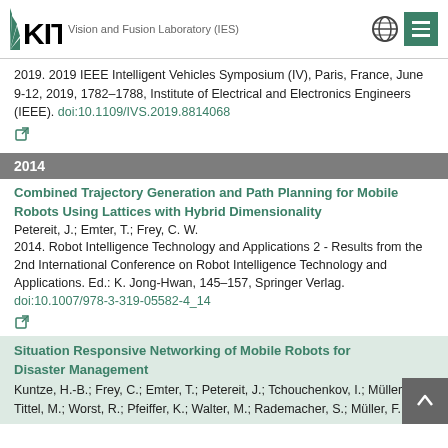KIT Vision and Fusion Laboratory (IES)
2019. 2019 IEEE Intelligent Vehicles Symposium (IV), Paris, France, June 9-12, 2019, 1782–1788, Institute of Electrical and Electronics Engineers (IEEE). doi:10.1109/IVS.2019.8814068
2014
Combined Trajectory Generation and Path Planning for Mobile Robots Using Lattices with Hybrid Dimensionality
Petereit, J.; Emter, T.; Frey, C. W.
2014. Robot Intelligence Technology and Applications 2 - Results from the 2nd International Conference on Robot Intelligence Technology and Applications. Ed.: K. Jong-Hwan, 145–157, Springer Verlag. doi:10.1007/978-3-319-05582-4_14
Situation Responsive Networking of Mobile Robots for Disaster Management
Kuntze, H.-B.; Frey, C.; Emter, T.; Petereit, J.; Tchouchenkov, I.; Müller, T.; Tittel, M.; Worst, R.; Pfeiffer, K.; Walter, M.; Rademacher, S.; Müller, F.